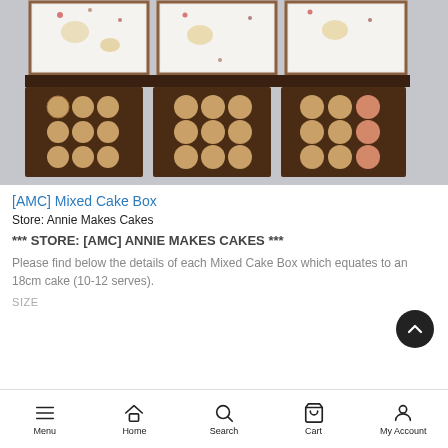[Figure (photo): Top-down view of a Mixed Cake Box containing rows of chocolate truffles dusted with cocoa/sugar and white frosted cake squares with decorative toppings]
[AMC] Mixed Cake Box
Store: Annie Makes Cakes
*** STORE: [AMC] ANNIE MAKES CAKES ***
Please find below the details of each Mixed Cake Box which equates to an 18cm cake (10-12 serves).
SIZE
Menu  Home  Search  Cart  My Account